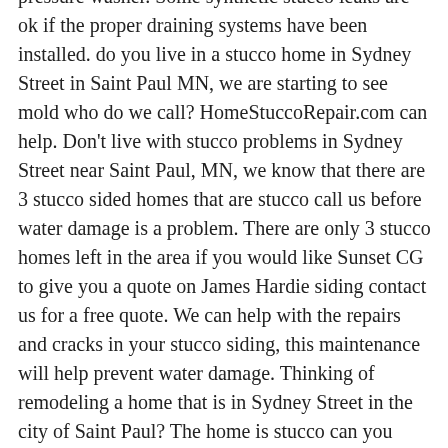pressure washer. Some synthetic stucco leaks are ok if the proper draining systems have been installed. do you live in a stucco home in Sydney Street in Saint Paul MN, we are starting to see mold who do we call? HomeStuccoRepair.com can help. Don't live with stucco problems in Sydney Street near Saint Paul, MN, we know that there are 3 stucco sided homes that are stucco call us before water damage is a problem. There are only 3 stucco homes left in the area if you would like Sunset CG to give you a quote on James Hardie siding contact us for a free quote. We can help with the repairs and cracks in your stucco siding, this maintenance will help prevent water damage. Thinking of remodeling a home that is in Sydney Street in the city of Saint Paul? The home is stucco can you check out the home for us and get a estimate? Sunset Construction Group specializes in stucco and James